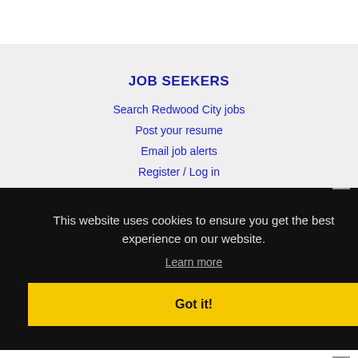JOB SEEKERS
Search Redwood City jobs
Post your resume
Email job alerts
Register / Log in
This website uses cookies to ensure you get the best experience on our website.
Learn more
Got it!